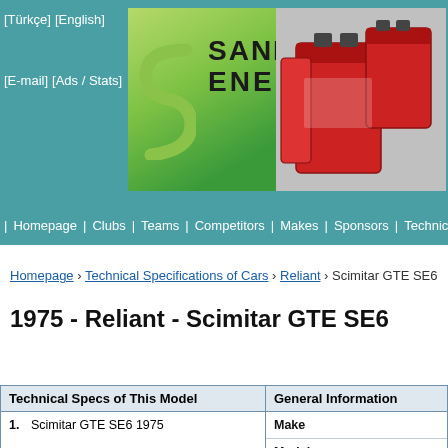[Türkçe] [English] [E-mail] [Ads / Stats]
[Figure (logo): Sanmar Enerji banner advertisement with green S-logo on left and red batteries on right]
Homepage | Clubs | Teams | Competitors | Makes | Sponsors | Technical Spec
Homepage › Technical Specifications of Cars › Reliant › Scimitar GTE SE6
1975 - Reliant - Scimitar GTE SE6
| Technical Specs of This Model |
| --- |
| 1. | Scimitar GTE SE6 1975 |
| General Information |
| --- |
| Make |
| Model |
| Production Year |
| Country |
| Designer |
| Production Number |